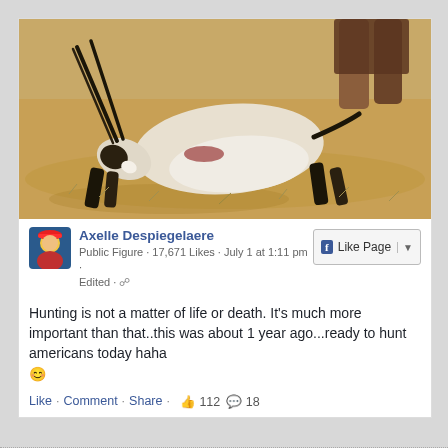[Figure (photo): A dead oryx/gemsbok lying on dry sandy ground with long straight horns, seen from the side. A person's legs are partially visible behind the animal. The setting is an arid African landscape.]
Axelle Despiegelaere
Public Figure · 17,671 Likes · July 1 at 1:11 pm · Edited ·
Hunting is not a matter of life or death. It's much more important than that..this was about 1 year ago...ready to hunt americans today haha 😊
Like · Comment · Share · 👍 112 💬 18